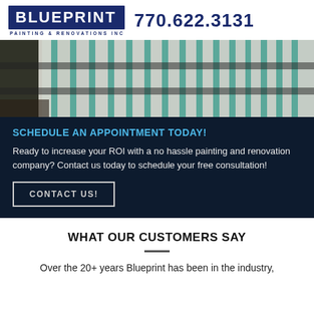[Figure (logo): Blueprint Painting & Renovations Inc logo with bold white text on dark blue background, and phone number 770.622.3131]
[Figure (photo): Photo of painted white fence railings with teal/green background visible through the rails]
SCHEDULE AN APPOINTMENT TODAY!
Ready to increase your ROI with a no hassle painting and renovation company? Contact us today to schedule your free consultation!
CONTACT US!
WHAT OUR CUSTOMERS SAY
Over the 20+ years Blueprint has been in the industry,